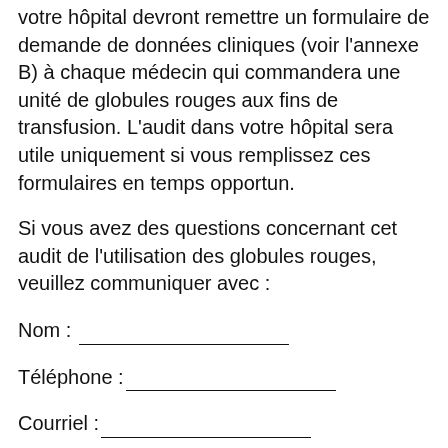votre hôpital devront remettre un formulaire de demande de données cliniques (voir l'annexe B) à chaque médecin qui commandera une unité de globules rouges aux fins de transfusion. L'audit dans votre hôpital sera utile uniquement si vous remplissez ces formulaires en temps opportun.
Si vous avez des questions concernant cet audit de l'utilisation des globules rouges, veuillez communiquer avec :
Nom : ____________________
Téléphone :____________________
Courriel :____________________
Télécopieur :____________________